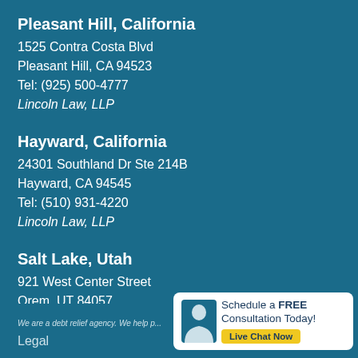Pleasant Hill, California
1525 Contra Costa Blvd
Pleasant Hill, CA 94523
Tel: (925) 500-4777
Lincoln Law, LLP
Hayward, California
24301 Southland Dr Ste 214B
Hayward, CA 94545
Tel: (510) 931-4220
Lincoln Law, LLP
Salt Lake, Utah
921 West Center Street
Orem, UT 84057
Tel: (801) 386-8550
Lincoln Law Center, LLC
We are a debt relief agency. We help p...
Legal
[Figure (infographic): Schedule a FREE Consultation Today! Live Chat Now widget with silhouette icon]